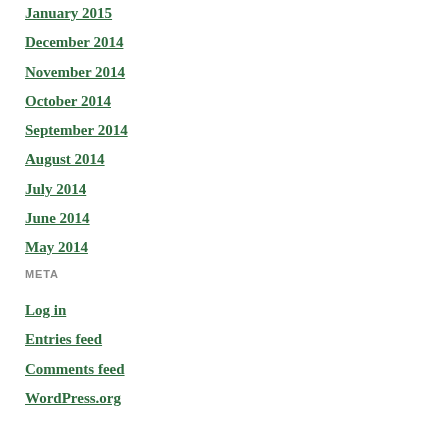January 2015
December 2014
November 2014
October 2014
September 2014
August 2014
July 2014
June 2014
May 2014
META
Log in
Entries feed
Comments feed
WordPress.org